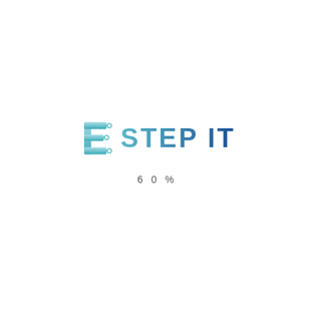[Figure (logo): STEP IT logo with circuit-board E icon in teal/cyan gradient and text STEP IT in blue gradient]
60%